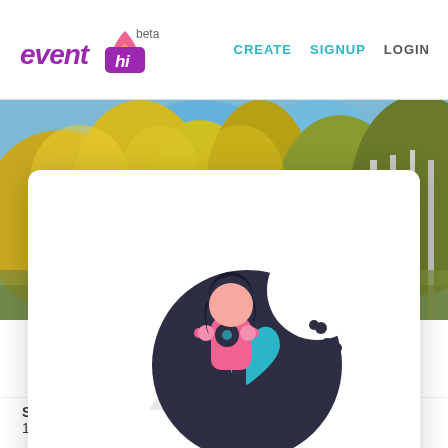eventhi beta | CREATE  SIGNUP  LOGIN
[Figure (illustration): Forest/autumn trees background banner behind cookie consent card]
[Figure (illustration): Cookie consent illustration: woman in pink top leaning against a large dark cookie with a blue heart, mountains/circle in background]
We use Cookies to ensure that we give you the best experience on our website. Read our Privacy Policy.
I AGREE
Sunday, Sep 15th 2019
11:00 AM - 05:00 PM (CDT)